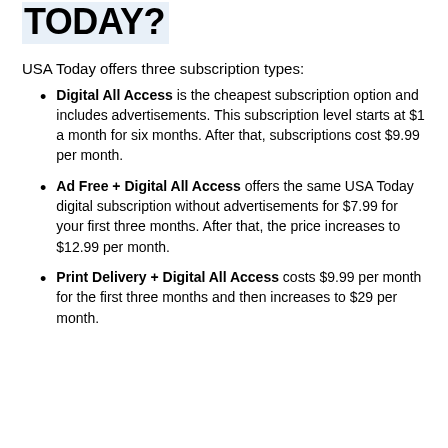TODAY?
USA Today offers three subscription types:
Digital All Access is the cheapest subscription option and includes advertisements. This subscription level starts at $1 a month for six months. After that, subscriptions cost $9.99 per month.
Ad Free + Digital All Access offers the same USA Today digital subscription without advertisements for $7.99 for your first three months. After that, the price increases to $12.99 per month.
Print Delivery + Digital All Access costs $9.99 per month for the first three months and then increases to $29 per month.